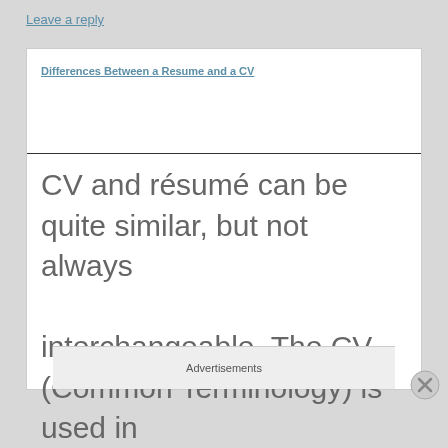Leave a reply
Differences Between a Resume and a CV
CV and résumé can be quite similar, but not always interchangeable. The CV (Common Terminology) is used in occupational resume help and
Advertisements